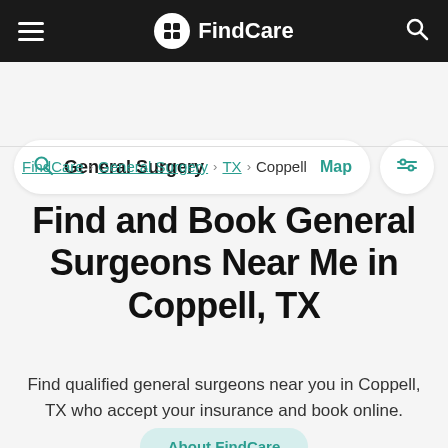FindCare
General Surgery  Map
FindCare › General Surgery › TX › Coppell
Find and Book General Surgeons Near Me in Coppell, TX
Find qualified general surgeons near you in Coppell, TX who accept your insurance and book online.
About FindCare